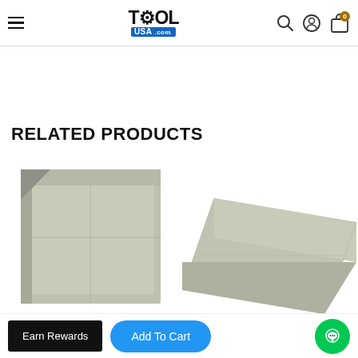ToolUSA.com navigation header with hamburger menu, logo, search, account, and cart icons
RELATED PRODUCTS
[Figure (photo): Folded gray polyethylene tarp product image, left side]
[Figure (photo): Flat gray polyethylene tarp product image, right side]
Pay in 4 interest-free installments of $21.95 with shop Pay
Learn more
Earn Rewards | Add To Cart | Chat button